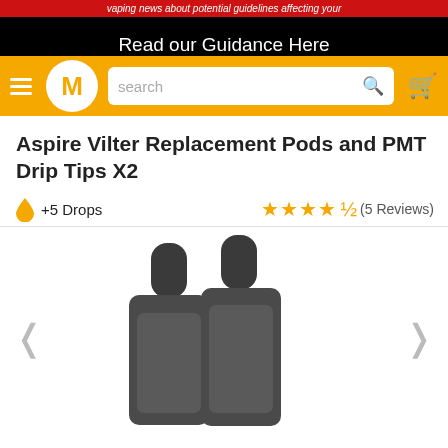Read our Guidance Here
[Figure (screenshot): E-commerce navigation bar with hamburger menu, M logo circle, search bar, and cart icon on orange background]
Aspire Vilter Replacement Pods and PMT Drip Tips X2
+5 Drops   ★★★★½ (5 Reviews)
[Figure (photo): Two dark grey/black Aspire Vilter replacement pod cartridges with drip tips, shown side by side on white background]